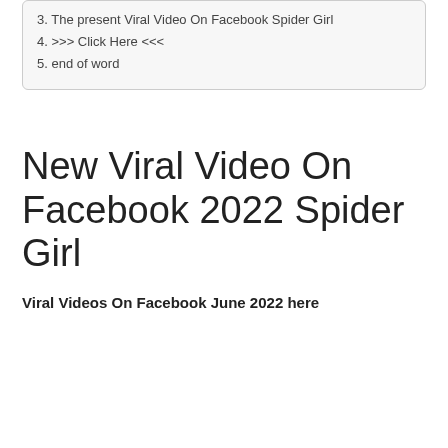3. The present Viral Video On Facebook Spider Girl
4. >>> Click Here <<<
5. end of word
New Viral Video On Facebook 2022 Spider Girl
Viral Videos On Facebook June 2022 here